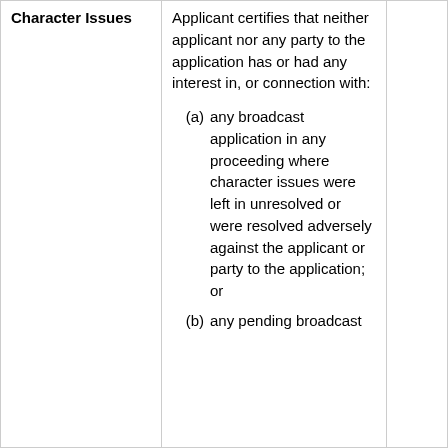| Character Issues | Content |  |
| --- | --- | --- |
| Character Issues | Applicant certifies that neither applicant nor any party to the application has or had any interest in, or connection with:
(a) any broadcast application in any proceeding where character issues were left in unresolved or were resolved adversely against the applicant or party to the application; or
(b) any pending broadcast |  |